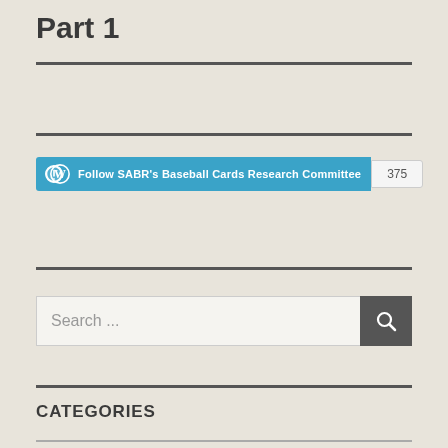Part 1
[Figure (other): WordPress Follow button for SABR's Baseball Cards Research Committee with follower count of 375]
Search ...
CATEGORIES